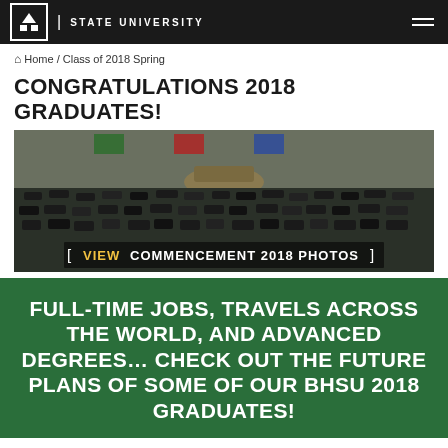STATE UNIVERSITY
Home / Class of 2018 Spring
CONGRATULATIONS 2018 GRADUATES!
[Figure (photo): Wide-angle photo of a university commencement ceremony showing rows of graduates wearing black caps and gowns, with an arena audience in the background, flags on the wall, and overlay text reading VIEW COMMENCEMENT 2018 PHOTOS]
FULL-TIME JOBS, TRAVELS ACROSS THE WORLD, AND ADVANCED DEGREES… CHECK OUT THE FUTURE PLANS OF SOME OF OUR BHSU 2018 GRADUATES!